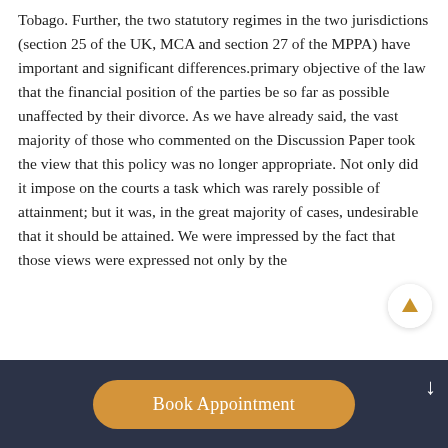Tobago. Further, the two statutory regimes in the two jurisdictions (section 25 of the UK, MCA and section 27 of the MPPA) have important and significant differences.primary objective of the law that the financial position of the parties be so far as possible unaffected by their divorce. As we have already said, the vast majority of those who commented on the Discussion Paper took the view that this policy was no longer appropriate. Not only did it impose on the courts a task which was rarely possible of attainment; but it was, in the great majority of cases, undesirable that it should be attained. We were impressed by the fact that those views were expressed not only by the
[Figure (other): Scroll-up circular button with upward chevron arrow in amber color]
Book Appointment